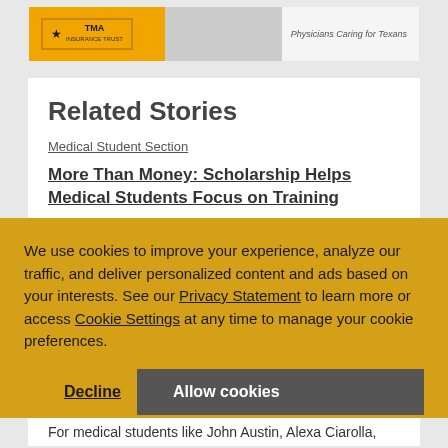[Figure (logo): TMA Insurance Trust banner ad with logo and 'Physicians Caring for Texans' text]
Related Stories
Medical Student Section
More Than Money: Scholarship Helps Medical Students Focus on Training
We use cookies to improve your experience, analyze our traffic, and deliver personalized content and ads based on your interests. See our Privacy Statement to learn more or access Cookie Settings at any time to manage your cookie preferences.
For medical students like John Austin, Alexa Ciarolla,